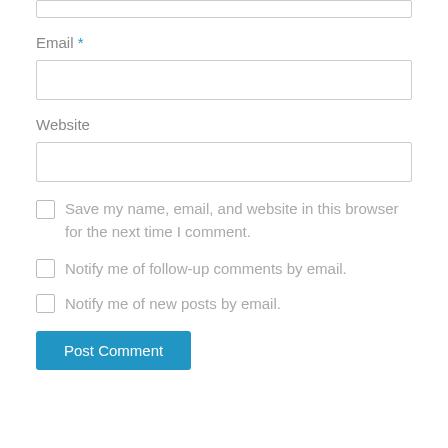[Figure (screenshot): Partial text input field at the top of the page (cropped from above)]
Email *
[Figure (screenshot): Email input text field, empty, with light gray border]
Website
[Figure (screenshot): Website input text field, empty, with light gray border]
Save my name, email, and website in this browser for the next time I comment.
Notify me of follow-up comments by email.
Notify me of new posts by email.
Post Comment